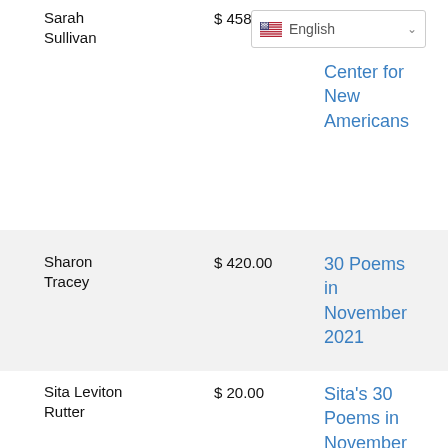| Name | Amount | Campaign |
| --- | --- | --- |
| Sarah Sullivan | $ 4587.56 | Center for New Americans |
| Sharon Tracey | $ 420.00 | 30 Poems in November 2021 |
| Sita Leviton Rutter | $ 20.00 | Sita's 30 Poems in November |